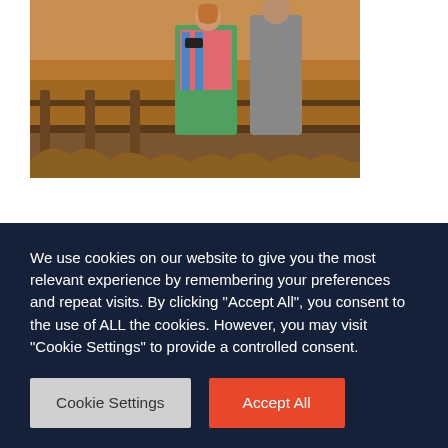[Figure (photo): Two people standing on a wooden boardwalk/bridge, one using binoculars, with golden wetland grasses in the background. Warm late afternoon light.]
Spanning 4,400 acres of wetland habitat along the eastern shore of the Great Salt Lake, Great Salt Lake Shorelands Preserve is a wonderful place to explore with the family. The wetlands provide nesting and feeding areas for over 250 species of birds and over 4 million feathered visitors each year. A boarded 1.3-mile walkway
We use cookies on our website to give you the most relevant experience by remembering your preferences and repeat visits. By clicking "Accept All", you consent to the use of ALL the cookies. However, you may visit "Cookie Settings" to provide a controlled consent.